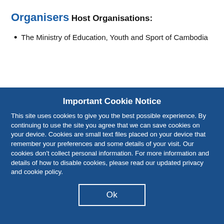Organisers
Host Organisations:
The Ministry of Education, Youth and Sport of Cambodia
Important Cookie Notice
This site uses cookies to give you the best possible experience. By continuing to use the site you agree that we can save cookies on your device. Cookies are small text files placed on your device that remember your preferences and some details of your visit. Our cookies don't collect personal information. For more information and details of how to disable cookies, please read our updated privacy and cookie policy.
Ok